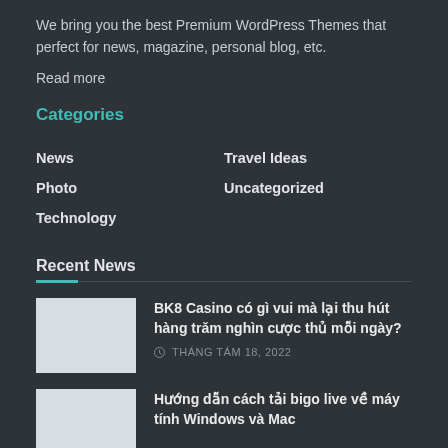We bring you the best Premium WordPress Themes that perfect for news, magazine, personal blog, etc.
Read more
Categories
News
Travel Ideas
Photo
Uncategorized
Technology
Recent News
BK8 Casino có gì vui mà lại thu hút hàng trăm nghìn cược thủ mỗi ngày?
THÁNG TÁM 18, 2022
Hướng dẫn cách tải bigo live về máy tính Windows và Mac